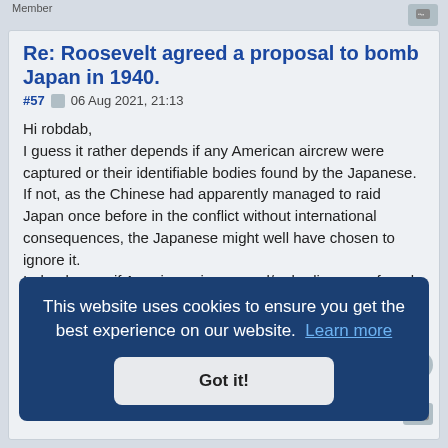Member
Re: Roosevelt agreed a proposal to bomb Japan in 1940.
#57  06 Aug 2021, 21:13
Hi robdab,
I guess it rather depends if any American aircrew were captured or their identifiable bodies found by the Japanese.
If not, as the Chinese had apparently managed to raid Japan once before in the conflict without international consequences, the Japanese might well have chosen to ignore it.
Indeed, even if American aircrew and/or bodies were found, they still had the option to cover it up publicly until they could deliver their Pearl Harbour
This website uses cookies to ensure you get the best experience on our website. Learn more
Got it!